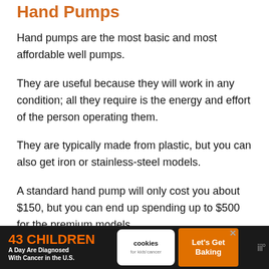Hand Pumps
Hand pumps are the most basic and most affordable well pumps.
They are useful because they will work in any condition; all they require is the energy and effort of the person operating them.
They are typically made from plastic, but you can also get iron or stainless-steel models.
A standard hand pump will only cost you about $150, but you can end up spending up to $500 for the premium models.
[Figure (infographic): Advertisement banner: '43 CHILDREN A Day Are Diagnosed With Cancer in the U.S.' with cookies for kids cancer logo and 'Let's Get Baking' call to action on a dark background.]